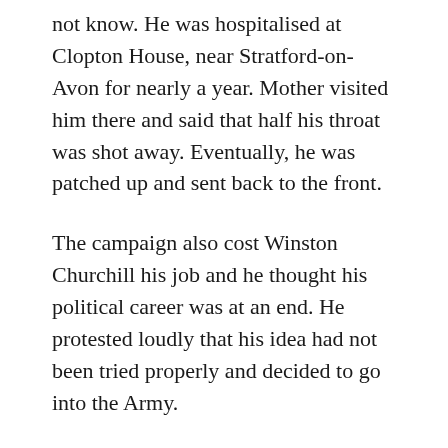not know. He was hospitalised at Clopton House, near Stratford-on-Avon for nearly a year. Mother visited him there and said that half his throat was shot away. Eventually, he was patched up and sent back to the front.
The campaign also cost Winston Churchill his job and he thought his political career was at an end. He protested loudly that his idea had not been tried properly and decided to go into the Army.
He was given command of a battalion. He thought he should have been given command of a Brigade, but got nowhere with his protests and had to cancel the brigadiers uniform he had ordered. For five months he conducted a vigorous campaign to rid his battalion of lice. Then boredom set in and his optimism and his